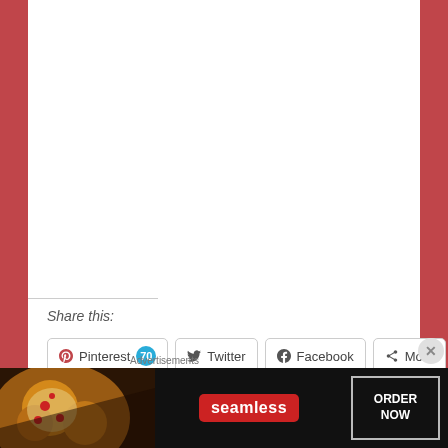Share this:
[Figure (screenshot): Social sharing buttons: Pinterest (70), Twitter, Facebook, More]
Loading...
Related
Advertisements
[Figure (screenshot): Seamless food delivery advertisement banner showing pizza slices with ORDER NOW button]